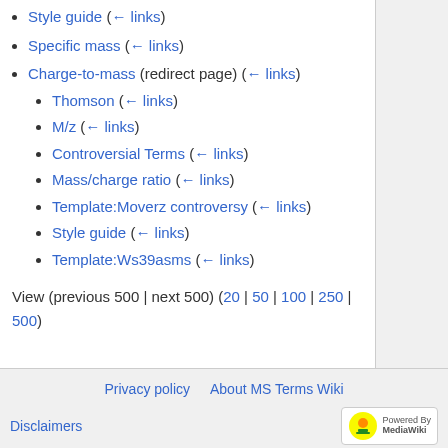Style guide  (← links)
Specific mass  (← links)
Charge-to-mass (redirect page)  (← links)
Thomson  (← links)
M/z  (← links)
Controversial Terms  (← links)
Mass/charge ratio  (← links)
Template:Moverz controversy  (← links)
Style guide  (← links)
Template:Ws39asms  (← links)
View (previous 500 | next 500) (20 | 50 | 100 | 250 | 500)
Privacy policy   About MS Terms Wiki   Disclaimers   Powered by MediaWiki